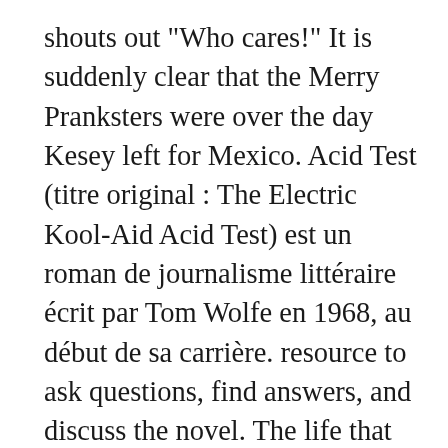shouts out "Who cares!" It is suddenly clear that the Merry Pranksters were over the day Kesey left for Mexico. Acid Test (titre original : The Electric Kool-Aid Acid Test) est un roman de journalisme littéraire écrit par Tom Wolfe en 1968, au début de sa carrière. resource to ask questions, find answers, and discuss the novel. The life that he has devolved into no longer intrigues him. The book is a popular example of the New Journalism literary style. The Electric Kool-Aid Acid Test Summary and Analysis of "The Graduation" and "Epilogue" The final chapter of the book picks up where the first chapter began: with Kesey's arrest, hearings, and bail, awarded only because he